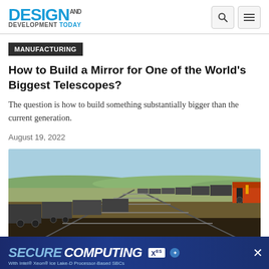DESIGN AND DEVELOPMENT TODAY
MANUFACTURING
How to Build a Mirror for One of the World's Biggest Telescopes?
The question is how to build something substantially bigger than the current generation.
August 19, 2022
[Figure (photo): A freight train with many cargo cars winding across a flat prairie landscape under a blue sky, viewed from a low angle showing the locomotive at the far end.]
[Figure (other): Advertisement banner: SECURE COMPUTING - XES - With Intel Xeon Ice Lake-D Processor-Based SBCs]